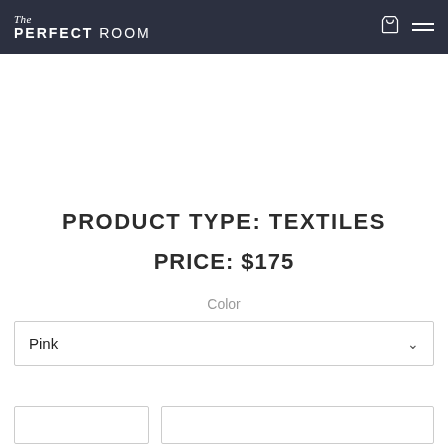The PERFECT ROOM
PRODUCT TYPE:  TEXTILES
PRICE:  $175
Color
Pink